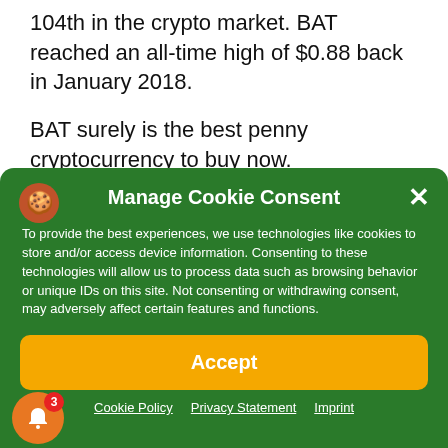104th in the crypto market. BAT reached an all-time high of $0.88 back in January 2018.
BAT surely is the best penny cryptocurrency to buy now.
Visit Live BAT Market to Buy BAT token
Manage Cookie Consent
To provide the best experiences, we use technologies like cookies to store and/or access device information. Consenting to these technologies will allow us to process data such as browsing behavior or unique IDs on this site. Not consenting or withdrawing consent, may adversely affect certain features and functions.
Accept
Cookie Policy  Privacy Statement  Imprint